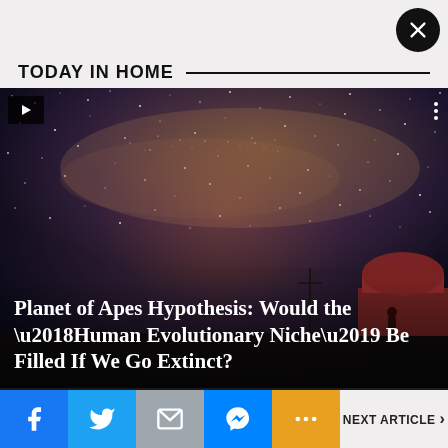TODAY IN HOME
[Figure (photo): Night sky with Milky Way and observatory dome on right side, video thumbnail for article about Planet of Apes Hypothesis]
Planet of Apes Hypothesis: Would the ‘Human Evolutionary Niche’ Be Filled If We Go Extinct?
[Figure (screenshot): Social sharing bar with Facebook, Twitter, Email, Messenger, More buttons and Next Article link]